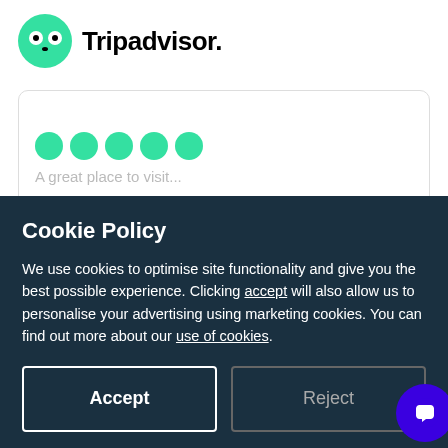[Figure (logo): Tripadvisor logo: green circle with owl eyes icon followed by text 'Tripadvisor']
[Figure (other): Review card with five green circles (rating dots) and partially visible review text below]
Cookie Policy
We use cookies to optimise site functionality and give you the best possible experience. Clicking accept will also allow us to personalise your advertising using marketing cookies. You can find out more about our use of cookies.
Accept
Reject